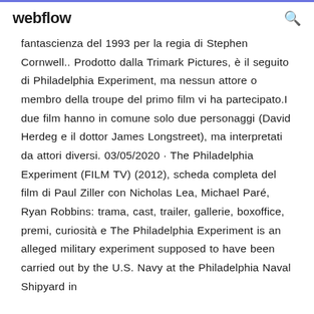webflow
fantascienza del 1993 per la regia di Stephen Cornwell.. Prodotto dalla Trimark Pictures, è il seguito di Philadelphia Experiment, ma nessun attore o membro della troupe del primo film vi ha partecipato.I due film hanno in comune solo due personaggi (David Herdeg e il dottor James Longstreet), ma interpretati da attori diversi. 03/05/2020 · The Philadelphia Experiment (FILM TV) (2012), scheda completa del film di Paul Ziller con Nicholas Lea, Michael Paré, Ryan Robbins: trama, cast, trailer, gallerie, boxoffice, premi, curiosità e The Philadelphia Experiment is an alleged military experiment supposed to have been carried out by the U.S. Navy at the Philadelphia Naval Shipyard in